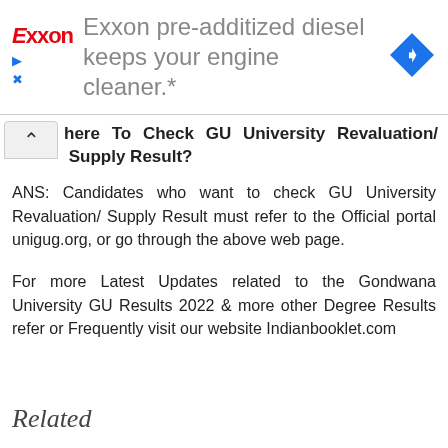[Figure (other): Exxon advertisement banner: 'Exxon pre-additized diesel keeps your engine cleaner.*' with Exxon logo and navigation arrow icon]
Where To Check GU University Revaluation/ Supply Result?
ANS: Candidates who want to check GU University Revaluation/ Supply Result must refer to the Official portal unigug.org, or go through the above web page.
For more Latest Updates related to the Gondwana University GU Results 2022 & more other Degree Results refer or Frequently visit our website Indianbooklet.com
Related